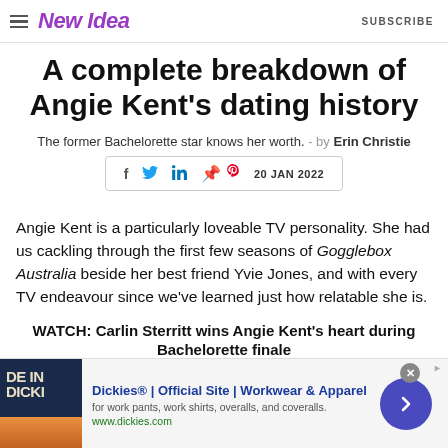New Idea | SUBSCRIBE
A complete breakdown of Angie Kent's dating history
The former Bachelorette star knows her worth. - by Erin Christie
20 JAN 2022
Angie Kent is a particularly loveable TV personality. She had us cackling through the first few seasons of Gogglebox Australia beside her best friend Yvie Jones, and with every TV endeavour since we've learned just how relatable she is.
WATCH: Carlin Sterritt wins Angie Kent's heart during Bachelorette finale
[Figure (other): Advertisement banner for Dickies workwear showing brand image, text 'Dickies® | Official Site | Workwear & Apparel', subtext 'for work pants, work shirts, overalls, and coveralls.', URL www.dickies.com, and a forward arrow button]